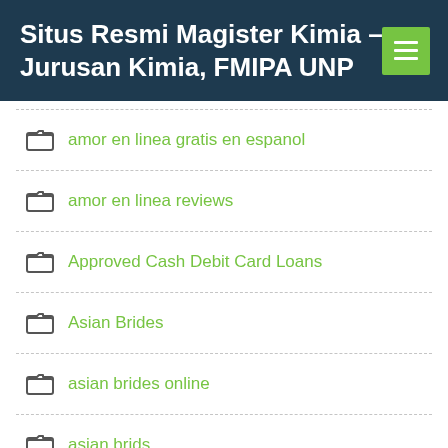Situs Resmi Magister Kimia – Jurusan Kimia, FMIPA UNP
amor en linea gratis en espanol
amor en linea reviews
Approved Cash Debit Card Loans
Asian Brides
asian brides online
asian brids